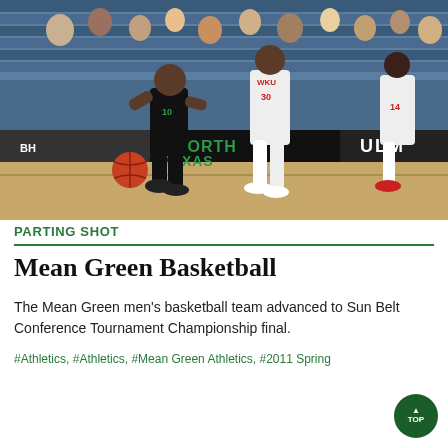[Figure (photo): Basketball game action photo showing North Texas Mean Green player #10 in black uniform dribbling against WKU players in white/red uniforms. Background shows tournament court with North Texas and ULM banners. Arena seats visible with spectators.]
PARTING SHOT
Mean Green Basketball
The Mean Green men's basketball team advanced to Sun Belt Conference Tournament Championship final.
#Athletics, #Athletics, #Mean Green Athletics, #2011 Spring